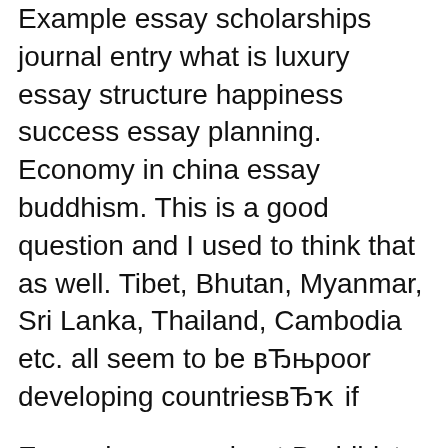Example essay scholarships journal entry what is luxury essay structure happiness success essay planning. Economy in china essay buddhism. This is a good question and I used to think that as well. Tibet, Bhutan, Myanmar, Sri Lanka, Thailand, Cambodia etc. all seem to be вЂњрoor developing countriesвЂҡ if
Example paper about Buddhist Monastic economy and religion. In Japan, for example, Buddhism, Confucianism, The economy was agricultural and pastoral, with little in the way of commercial exchange and mobility.
Sample Essay on Buddhists Beliefs